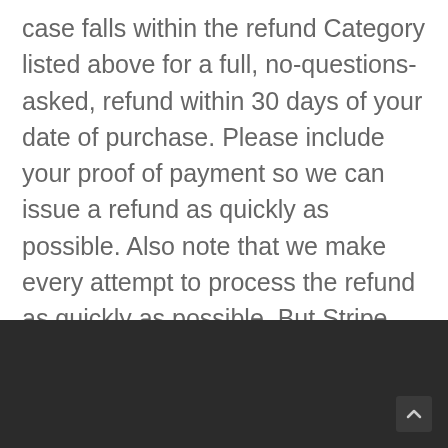case falls within the refund Category listed above for a full, no-questions-asked, refund within 30 days of your date of purchase. Please include your proof of payment so we can issue a refund as quickly as possible. Also note that we make every attempt to process the refund as quickly as possible. But Stripe (our payment processor) or your financial institution can take up to 20 days for the refund. You shall be refunded same way you paid for your goods.